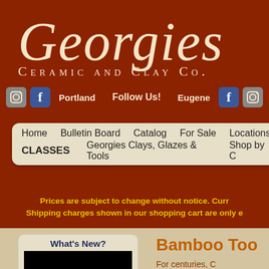Georgies Ceramic and Clay Co.
[Figure (logo): Georgies Ceramic and Clay Co. logo with cursive Georgies text and subtitle in small caps on dark red background]
Portland   Follow Us!   Eugene
Home
Bulletin Board
Catalog
For Sale
Locations
CLASSES
Georgies Clays, Glazes & Tools
Shop by C
Prices are subject to change without notice. Curr Shipping charges shown in our shopping cart are only e
What's New?
Bamboo Too
For centuries, C